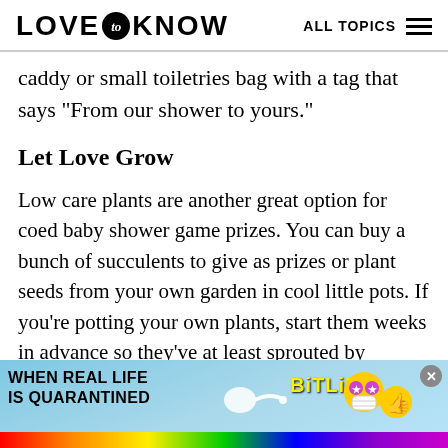LOVE to KNOW   ALL TOPICS
caddy or small toiletries bag with a tag that says "From our shower to yours."
Let Love Grow
Low care plants are another great option for coed baby shower game prizes. You can buy a bunch of succulents to give as prizes or plant seeds from your own garden in cool little pots. If you're potting your own plants, start them weeks in advance so they've at least sprouted by shower time. Add a sticker that says "Let love grow."
[Figure (other): Advertisement banner for BitLife game: 'WHEN REAL LIFE IS QUARANTINED' with rainbow, sperm cell graphic, BitLife logo, and cartoon emoji characters]